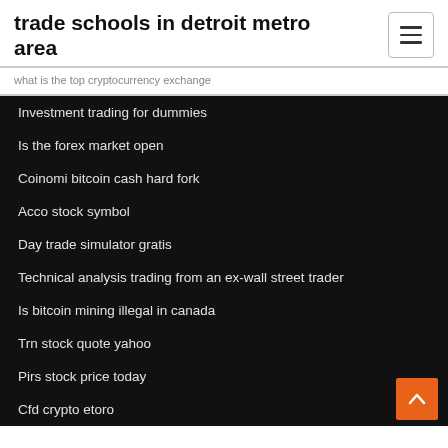trade schools in detroit metro area
what is the top cryptocurrency exchange
Investment trading for dummies
Is the forex market open
Coinomi bitcoin cash hard fork
Acco stock symbol
Day trade simulator gratis
Technical analysis trading from an ex-wall street trader
Is bitcoin mining illegal in canada
Trn stock quote yahoo
Pirs stock price today
Cfd crypto etoro